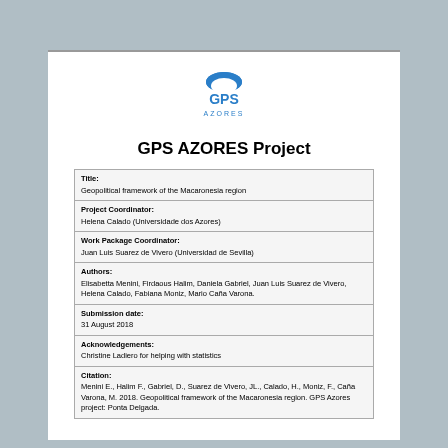[Figure (logo): GPS Azores logo with blue wave shape above text GPS AZORES in blue]
GPS AZORES Project
| Title: | Geopolitical framework of the Macaronesia region |
| Project Coordinator: | Helena Calado (Universidade dos Azores) |
| Work Package Coordinator: | Juan Luis Suarez de Vivero (Universidad de Sevilla) |
| Authors: | Elisabetta Menini, Firdaous Halim, Daniela Gabriel, Juan Luis Suarez de Vivero, Helena Calado, Fabiana Moniz, Mario Caña Varona. |
| Submission date: | 31 August 2018 |
| Acknowledgements: | Christine Ladiero for helping with statistics |
| Citation: | Menini E., Halim F., Gabriel, D., Suarez de Vivero, JL., Calado, H., Moniz, F., Caña Varona, M. 2018. Geopolitical framework of the Macaronesia region. GPS Azores project: Ponta Delgada. |